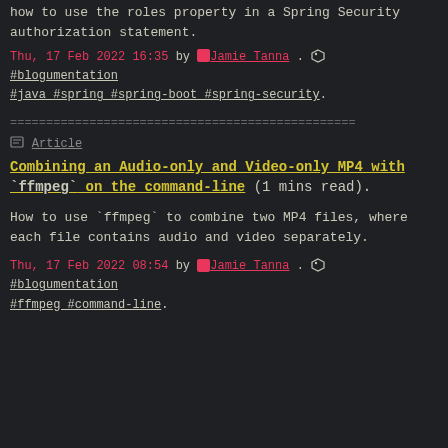how to use the roles property in a Spring Security authorization statement.
Thu, 17 Feb 2022 16:35 by Jamie Tanna . #blogumentation #java #spring #spring-boot #spring-security.
================================================
Article
Combining an Audio-only and Video-only MP4 with `ffmpeg` on the command-line (1 mins read).
How to use `ffmpeg` to combine two MP4 files, where each file contains audio and video separately.
Thu, 17 Feb 2022 08:54 by Jamie Tanna . #blogumentation #ffmpeg #command-line.